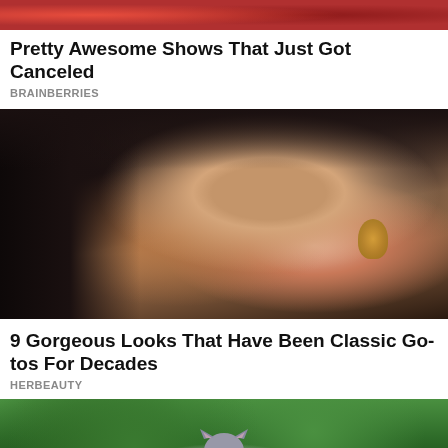[Figure (photo): Partial top image, cropped at top, showing reddish tones — appears to be a person with red/colorful headwear]
Pretty Awesome Shows That Just Got Canceled
BRAINBERRIES
[Figure (photo): Close-up portrait of a young Asian woman with black hair, dramatic cat-eye makeup, gold hoop earrings, and pink lips]
9 Gorgeous Looks That Have Been Classic Go-tos For Decades
HERBEAUTY
[Figure (photo): A grey British Shorthair cat with eyes closed, sitting among green leaves/plants]